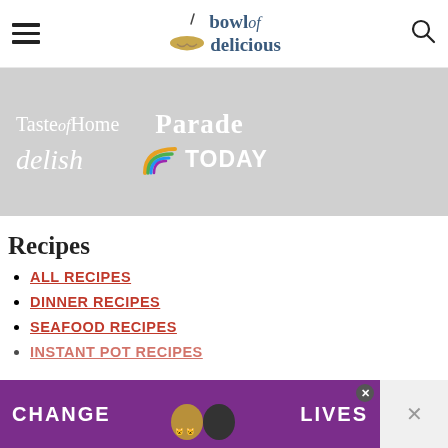bowl of delicious — navigation header with hamburger menu and search icon
[Figure (logo): Bowl of Delicious website logo with bowl icon, text 'bowl of delicious' in dark blue serif font]
[Figure (infographic): Press mentions band showing logos: Taste of Home, Parade, delish, TODAY on a light gray background]
Recipes
ALL RECIPES
DINNER RECIPES
SEAFOOD RECIPES
INSTANT POT RECIPES
[Figure (photo): Advertisement banner with purple background showing two cats and text 'CHANGE LIVES']